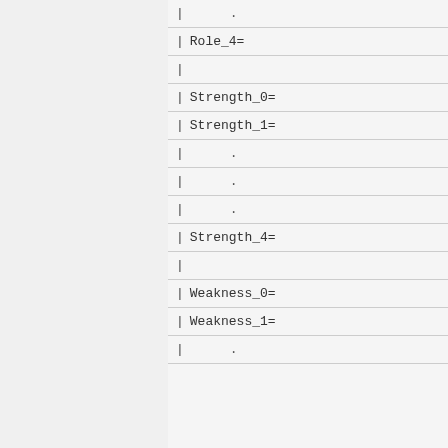| | | . |
| | Role_4= |  |
| | |  |
| | Strength_0= |  |
| | Strength_1= |  |
| | | . |
| | | . |
| | | . |
| | Strength_4= |  |
| | |  |
| | Weakness_0= |  |
| | Weakness_1= |  |
| | | . |